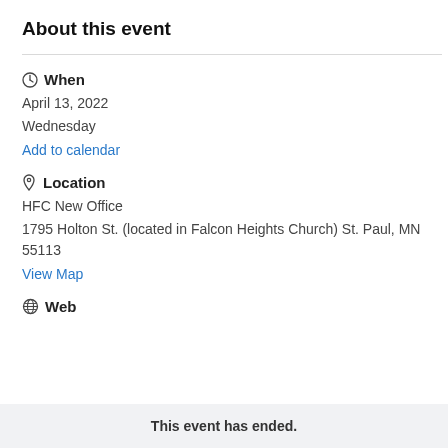About this event
When
April 13, 2022
Wednesday
Add to calendar
Location
HFC New Office
1795 Holton St. (located in Falcon Heights Church) St. Paul, MN  55113
View Map
Web
This event has ended.